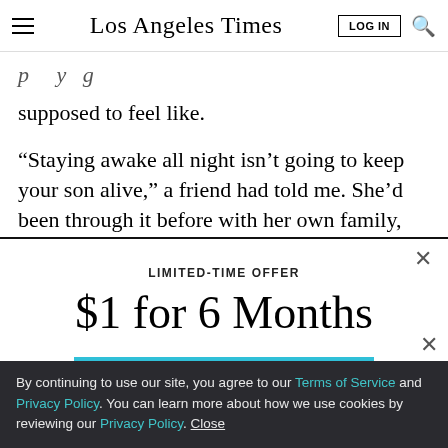Los Angeles Times
supposed to feel like.
“Staying awake all night isn’t going to keep your son alive,” a friend had told me. She’d been through it before with her own family, but I just didn’t want to
LIMITED-TIME OFFER
$1 for 6 Months
SUBSCRIBE NOW
By continuing to use our site, you agree to our Terms of Service and Privacy Policy. You can learn more about how we use cookies by reviewing our Privacy Policy. Close